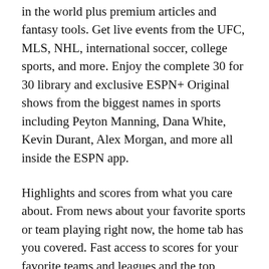in the world plus premium articles and fantasy tools. Get live events from the UFC, MLS, NHL, international soccer, college sports, and more. Enjoy the complete 30 for 30 library and exclusive ESPN+ Original shows from the biggest names in sports including Peyton Manning, Dana White, Kevin Durant, Alex Morgan, and more all inside the ESPN app.
Highlights and scores from what you care about. From news about your favorite sports or team playing right now, the home tab has you covered. Fast access to scores for your favorite teams and leagues and the top games of the day in the scores tab. Also, subscribe to your favorite ESPN Podcasts or listen live to EPSN Radio.